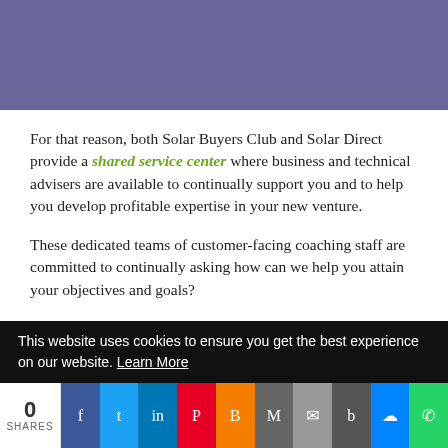[Figure (other): Purple/mauve header banner at top of page]
For that reason, both Solar Buyers Club and Solar Direct provide a shared service center where business and technical advisers are available to continually support you and to help you develop profitable expertise in your new venture.
These dedicated teams of customer-facing coaching staff are committed to continually asking how can we help you attain your objectives and goals?
Maybe you are thinking “sure, I’m fairly competent in my everyday life - but I am definitely not experienced in acquiring clean energy technology.”
This website uses cookies to ensure you get the best experience on our website. Learn More
0 SHARES